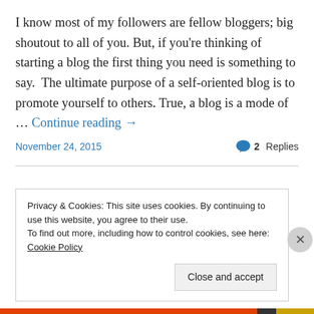I know most of my followers are fellow bloggers; big shoutout to all of you. But, if you're thinking of starting a blog the first thing you need is something to say.  The ultimate purpose of a self-oriented blog is to promote yourself to others. True, a blog is a mode of … Continue reading →
November 24, 2015    💬 2 Replies
Privacy & Cookies: This site uses cookies. By continuing to use this website, you agree to their use. To find out more, including how to control cookies, see here: Cookie Policy